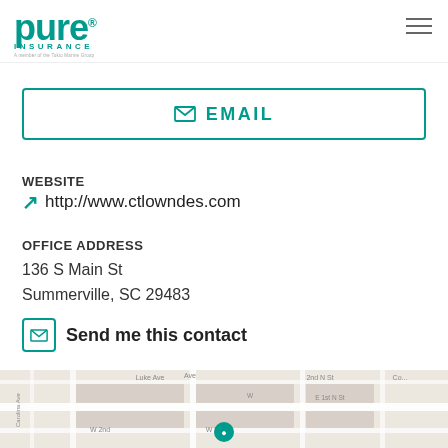[Figure (logo): PURE Insurance logo in teal/green]
EMAIL
WEBSITE
↗  http://www.ctlowndes.com
OFFICE ADDRESS
136 S Main St
Summerville, SC 29483
Send me this contact
[Figure (map): Street map showing location pin in Summerville, SC near W Richmond Ave and S Main St intersection]